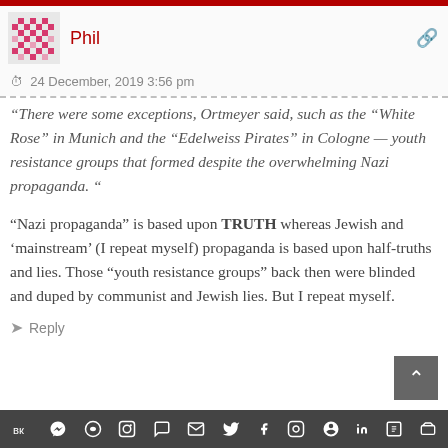Phil — 24 December, 2019 3:56 pm
“There were some exceptions, Ortmeyer said, such as the “White Rose” in Munich and the “Edelweiss Pirates” in Cologne — youth resistance groups that formed despite the overwhelming Nazi propaganda. “
“Nazi propaganda” is based upon TRUTH whereas Jewish and ‘mainstream’ (I repeat myself) propaganda is based upon half-truths and lies. Those “youth resistance groups” back then were blinded and duped by communist and Jewish lies. But I repeat myself.
Reply
Social share icons: VK, Telegram, Reddit, WordPress, WhatsApp, Email, Buffer, Twitter, Facebook, Instagram, Pinterest, Tumblr, LinkedIn, Gift, Wattpad, Share